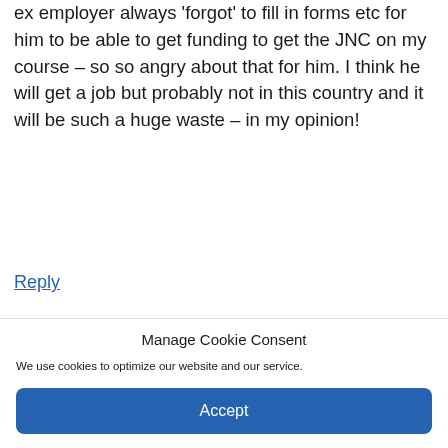ex employer always 'forgot' to fill in forms etc for him to be able to get funding to get the JNC on my course – so so angry about that for him. I think he will get a job but probably not in this country and it will be such a huge waste – in my opinion!
Reply
Manage Cookie Consent
We use cookies to optimize our website and our service.
Accept